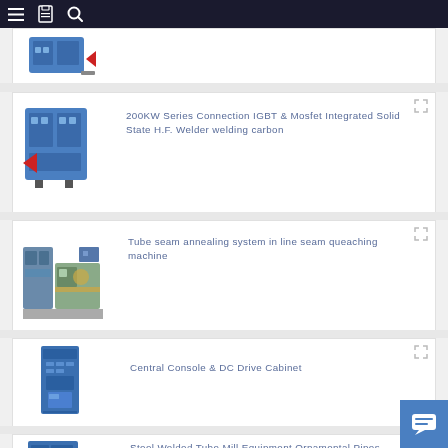Navigation bar with menu, bookmark, and search icons
[Figure (photo): Partial view of a blue industrial welding/heating machine with red arrow indicator]
[Figure (photo): Blue industrial IGBT solid state HF welder machine]
200KW Series Connection IGBT & Mosfet Integrated Solid State H.F. Welder welding carbon
[Figure (photo): Tube seam annealing system with industrial equipment in factory setting]
Tube seam annealing system in line seam queaching machine
[Figure (photo): Blue vertical cabinet - Central Console and DC Drive Cabinet]
Central Console & DC Drive Cabinet
[Figure (photo): Blue industrial steel tube mill equipment with red arrow]
Steel Welded Tube Mill Equipment Ornamental Pipes Machinery 400KW induction heating stee